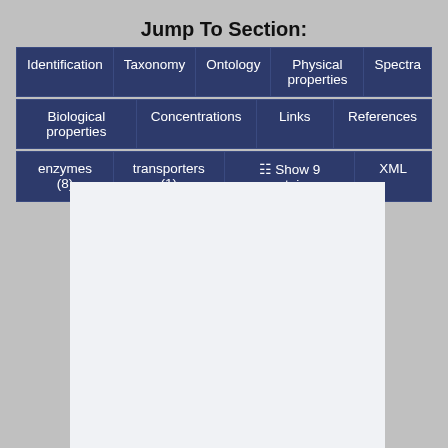Jump To Section:
Identification
Taxonomy
Ontology
Physical properties
Spectra
Biological properties
Concentrations
Links
References
enzymes (8)
transporters (1)
Show 9 proteins
XML
Common
Pitanga
Plains pri
French pla
Prickly pe
Malabar p
Sapodilla
Mamey sa
Soursop
Sugar app
Kiwi
Feijoa
Persimm...